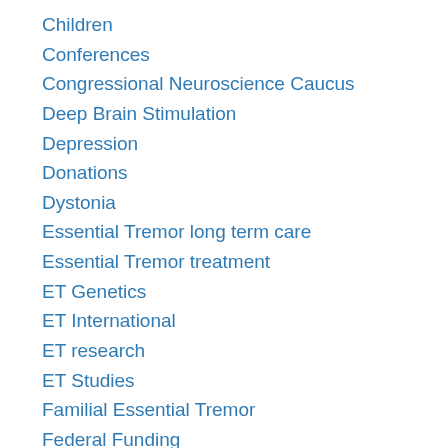Children
Conferences
Congressional Neuroscience Caucus
Deep Brain Stimulation
Depression
Donations
Dystonia
Essential Tremor long term care
Essential Tremor treatment
ET Genetics
ET International
ET research
ET Studies
Familial Essential Tremor
Federal Funding